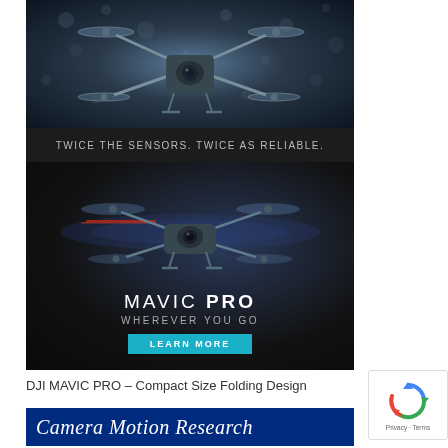[Figure (photo): DJI drone advertisement - top section showing drone with 'TWICE THE SENSORS. TWICE AS RELIABLE.' text on dark background]
[Figure (photo): DJI Mavic Pro advertisement showing drone in flight with text 'MAVIC PRO', 'WHEREVER YOU GO', and 'LEARN MORE' button on dark background]
DJI MAVIC PRO – Compact Size Folding Design
[Figure (logo): Camera Motion Research banner - white italic text on dark blue background]
[Figure (other): reCAPTCHA badge with Privacy - Terms text]